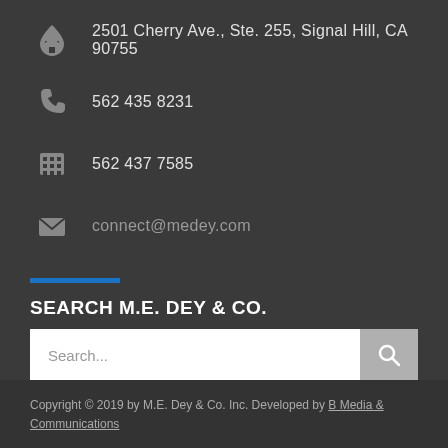2501 Cherry Ave., Ste. 255, Signal Hill, CA 90755
562 435 8231
562 437 7585
connect@medey.com
SEARCH M.E. DEY & CO.
Search...
Copyright © 2019 by M.E. Dey & Co. Inc. Developed by B Media & Communications